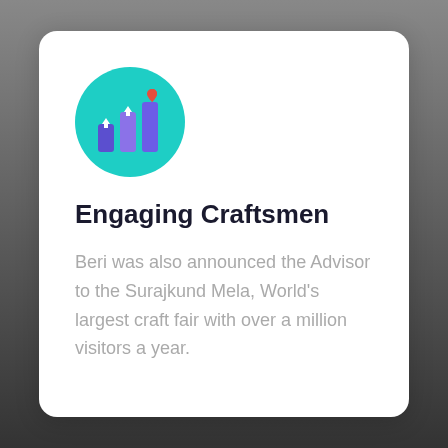[Figure (illustration): Teal circle icon with purple bar chart bars and white upward arrows, with a red heart at the top right]
Engaging Craftsmen
Beri was also announced the Advisor to the Surajkund Mela, World's largest craft fair with over a million visitors a year.